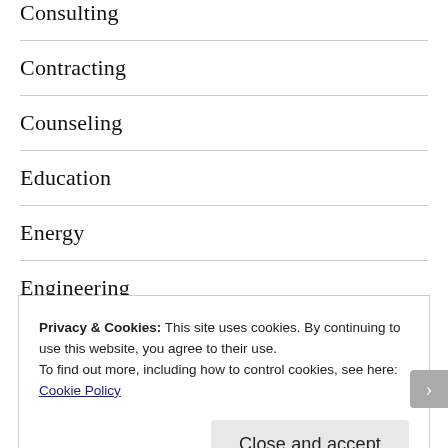Consulting
Contracting
Counseling
Education
Energy
Engineering
Entertainment
Privacy & Cookies: This site uses cookies. By continuing to use this website, you agree to their use.
To find out more, including how to control cookies, see here: Cookie Policy
Close and accept